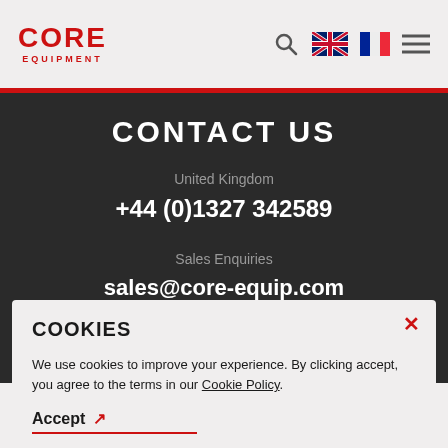CORE EQUIPMENT — header navigation with logo, search, UK/FR flags, menu
CONTACT US
United Kingdom
+44 (0)1327 342589
Sales Enquiries
sales@core-equip.com
COOKIES
We use cookies to improve your experience. By clicking accept, you agree to the terms in our Cookie Policy.
Accept ↗